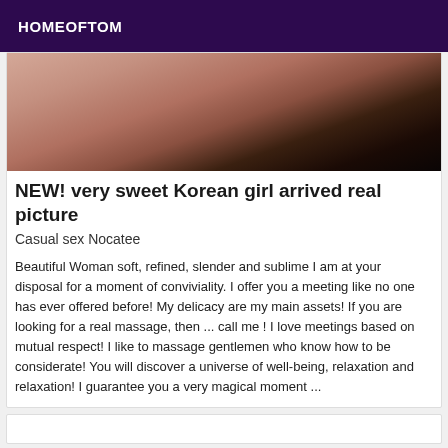HOMEOFTOM
[Figure (photo): Partial photo of a person's legs wearing black stockings or hosiery with straps]
NEW! very sweet Korean girl arrived real picture
Casual sex Nocatee
Beautiful Woman soft, refined, slender and sublime I am at your disposal for a moment of conviviality. I offer you a meeting like no one has ever offered before! My delicacy are my main assets! If you are looking for a real massage, then ... call me ! I love meetings based on mutual respect! I like to massage gentlemen who know how to be considerate! You will discover a universe of well-being, relaxation and relaxation! I guarantee you a very magical moment ...